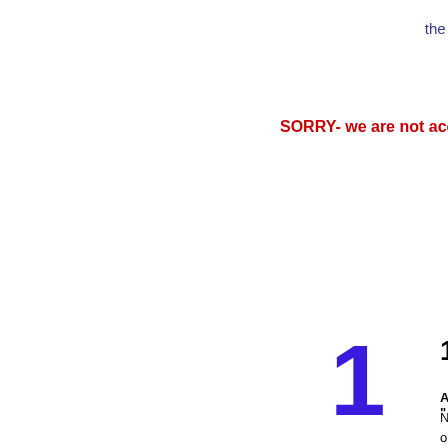the Independent Publisher Best Adult Fic
SORRY- we are not acc
1
1.
A "
NO on con go
a) A soc